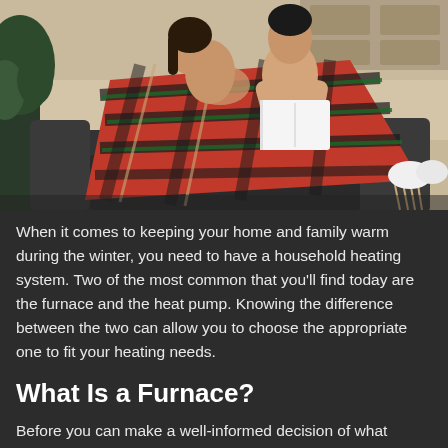[Figure (photo): A couple wrapped in a plaid red-and-black blanket sitting on a couch, the woman resting her head while the man reads a book. Indoor home setting.]
When it comes to keeping your home and family warm during the winter, you need to have a household heating system. Two of the most common that you'll find today are the furnace and the heat pump. Knowing the difference between the two can allow you to choose the appropriate one to fit your heating needs.
What Is a Furnace?
Before you can make a well-informed decision of what